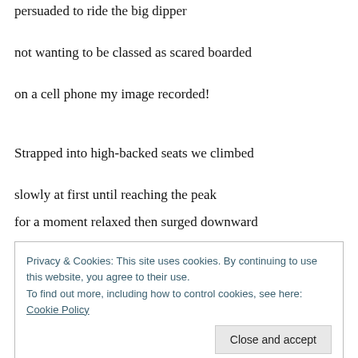persuaded to ride the big dipper
not wanting to be classed as scared boarded
on a cell phone my image recorded!
Strapped into high-backed seats we climbed
slowly at first until reaching the peak
for a moment relaxed then surged downward
Privacy & Cookies: This site uses cookies. By continuing to use this website, you agree to their use. To find out more, including how to control cookies, see here: Cookie Policy